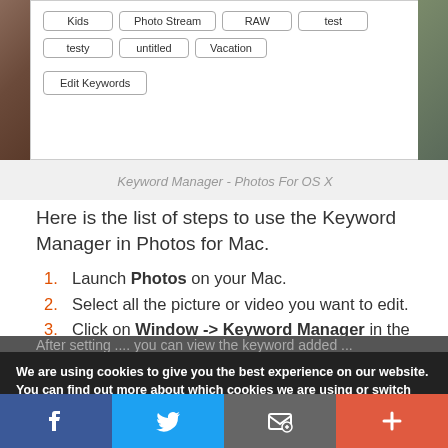[Figure (screenshot): Screenshot of Keyword Manager in Photos for OS X showing keyword buttons: Kids, Photo Stream, RAW, test, testy, untitled, Vacation, and an Edit Keywords button]
Keyword Manager - Photos For OS X
Here is the list of steps to use the Keyword Manager in Photos for Mac.
Launch Photos on your Mac.
Select all the picture or video you want to edit.
Click on Window -> Keyword Manager in the menu.
We are using cookies to give you the best experience on our website.
You can find out more about which cookies we are using or switch them off in settings.
[Figure (infographic): Social sharing bar with Facebook, Twitter, email/share, and plus buttons]